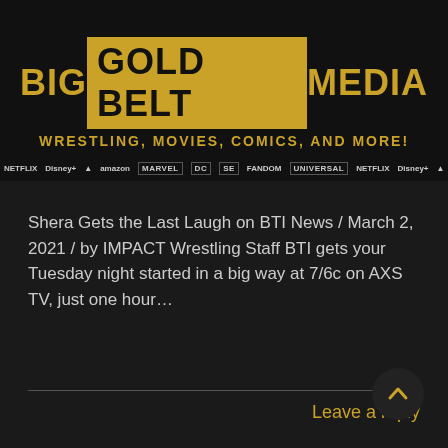[Figure (logo): Big Gold Belt Media logo banner with gold text on dark background, subtitle: WRESTLING, MOVIES, COMICS, AND MORE!]
[Figure (other): Horizontal scrolling strip of streaming and media logos: NETFLIX, Disney+, Paramount, Amazon, MARVEL, DC, and more, repeated]
Shera Gets the Last Laugh on BTI News / March 2, 2021 / by IMPACT Wrestling Staff BTI gets your Tuesday night started in a big way at 7/6c on AXS TV, just one hour…
Leave a reply